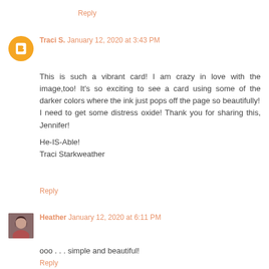Reply
Traci S. January 12, 2020 at 3:43 PM
This is such a vibrant card! I am crazy in love with the image,too! It's so exciting to see a card using some of the darker colors where the ink just pops off the page so beautifully!
I need to get some distress oxide! Thank you for sharing this, Jennifer!

He-IS-Able!
Traci Starkweather
Reply
Heather January 12, 2020 at 6:11 PM
ooo . . . simple and beautiful!
Reply